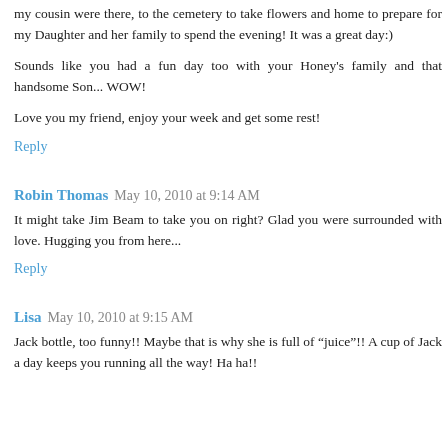my cousin were there, to the cemetery to take flowers and home to prepare for my Daughter and her family to spend the evening! It was a great day:)
Sounds like you had a fun day too with your Honey's family and that handsome Son... WOW!
Love you my friend, enjoy your week and get some rest!
Reply
Robin Thomas  May 10, 2010 at 9:14 AM
It might take Jim Beam to take you on right? Glad you were surrounded with love. Hugging you from here...
Reply
Lisa  May 10, 2010 at 9:15 AM
Jack bottle, too funny!! Maybe that is why she is full of "juice"!! A cup of Jack a day keeps you running all the way! Ha ha!!